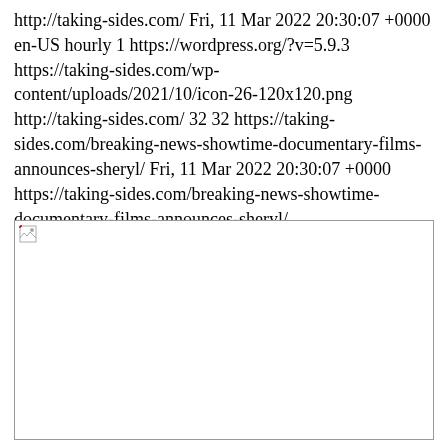http://taking-sides.com/ Fri, 11 Mar 2022 20:30:07 +0000 en-US hourly 1 https://wordpress.org/?v=5.9.3  https://taking-sides.com/wp-content/uploads/2021/10/icon-26-120x120.png http://taking-sides.com/ 32 32 https://taking-sides.com/breaking-news-showtime-documentary-films-announces-sheryl/ Fri, 11 Mar 2022 20:30:07 +0000 https://taking-sides.com/breaking-news-showtime-documentary-films-announces-sheryl/
[Figure (other): Broken image placeholder (small broken image icon in top-left corner of a white rectangle with border)]